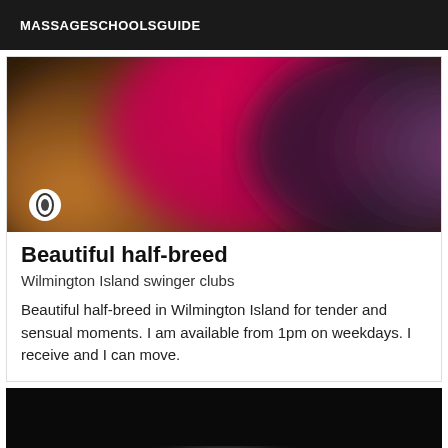MASSAGESCHOOLSGUIDE
[Figure (photo): Abstract blurry image with warm orange, bright pink/magenta, and dark purple/grey color blobs. A small circular logo watermark is visible in the bottom-left corner.]
Beautiful half-breed
Wilmington Island swinger clubs
Beautiful half-breed in Wilmington Island for tender and sensual moments. I am available from 1pm on weekdays. I receive and I can move.
[Figure (photo): Black and white photograph showing the back of a human figure against a dark background.]